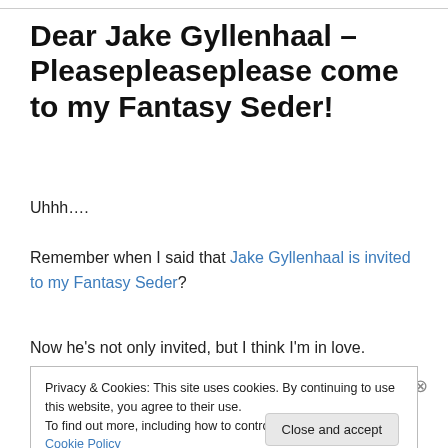Dear Jake Gyllenhaal – Pleasepleaseplease come to my Fantasy Seder!
Uhhh….
Remember when I said that Jake Gyllenhaal is invited to my Fantasy Seder?
Now he's not only invited, but I think I'm in love.
Privacy & Cookies: This site uses cookies. By continuing to use this website, you agree to their use. To find out more, including how to control cookies, see here: Cookie Policy